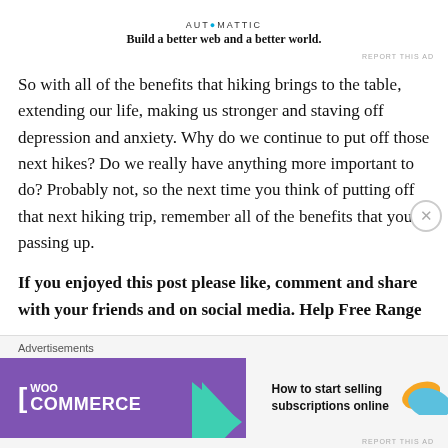[Figure (logo): Automattic logo with tagline 'Build a better web and a better world.']
So with all of the benefits that hiking brings to the table, extending our life, making us stronger and staving off depression and anxiety. Why do we continue to put off those next hikes? Do we really have anything more important to do? Probably not, so the next time you think of putting off that next hiking trip, remember all of the benefits that you're passing up.
If you enjoyed this post please like, comment and share with your friends and on social media. Help Free Range
[Figure (advertisement): WooCommerce advertisement banner: 'How to start selling subscriptions online']